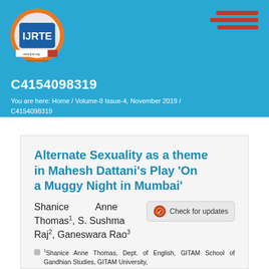[Figure (logo): IJRTE journal logo - circular logo with 'International Journal of Recent Technology and Engineering' text and orange/blue design with IJRTE text in center]
C4154098319
You are here: Home / Volume-8 Issue-4, November 2019 / C4154098319
Alternate Sexuality as a theme in Mahesh Dattani's Play 'On a Muggy Night in Mumbai'
Shanice Anne Thomas1, S. Sushma Raj2, Ganeswara Rao3
1Shanice Anne Thomas, Dept. of English, GITAM School of Gandhian Studies, GITAM University,